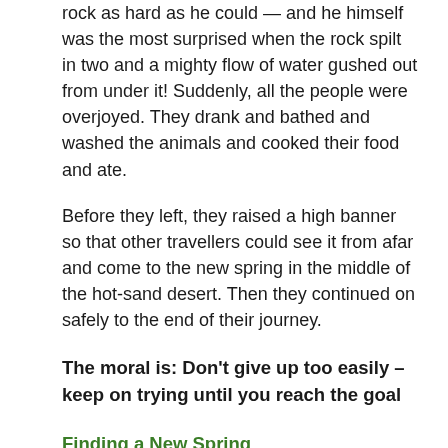rock as hard as he could — and he himself was the most surprised when the rock spilt in two and a mighty flow of water gushed out from under it! Suddenly, all the people were overjoyed. They drank and bathed and washed the animals and cooked their food and ate.
Before they left, they raised a high banner so that other travellers could see it from afar and come to the new spring in the middle of the hot-sand desert. Then they continued on safely to the end of their journey.
The moral is: Don't give up too easily – keep on trying until you reach the goal
Finding a New Spring
Link: